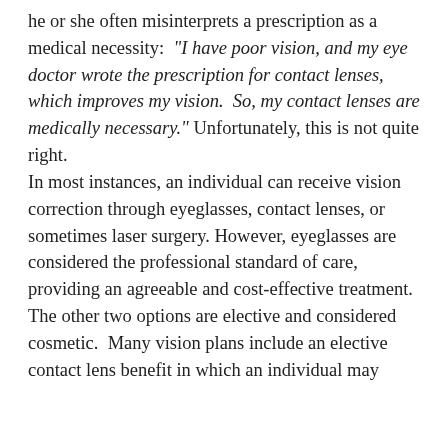he or she often misinterprets a prescription as a medical necessity: "I have poor vision, and my eye doctor wrote the prescription for contact lenses, which improves my vision. So, my contact lenses are medically necessary." Unfortunately, this is not quite right.
In most instances, an individual can receive vision correction through eyeglasses, contact lenses, or sometimes laser surgery. However, eyeglasses are considered the professional standard of care, providing an agreeable and cost-effective treatment. The other two options are elective and considered cosmetic. Many vision plans include an elective contact lens benefit in which an individual may